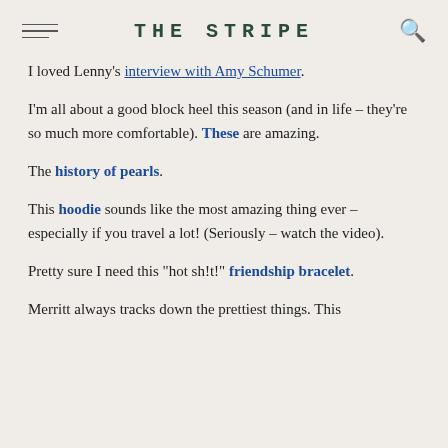THE STRIPE
I loved Lenny's interview with Amy Schumer.
I'm all about a good block heel this season (and in life – they're so much more comfortable). These are amazing.
The history of pearls.
This hoodie sounds like the most amazing thing ever – especially if you travel a lot! (Seriously – watch the video).
Pretty sure I need this "hot sh!t!" friendship bracelet.
Merritt always tracks down the prettiest things. This